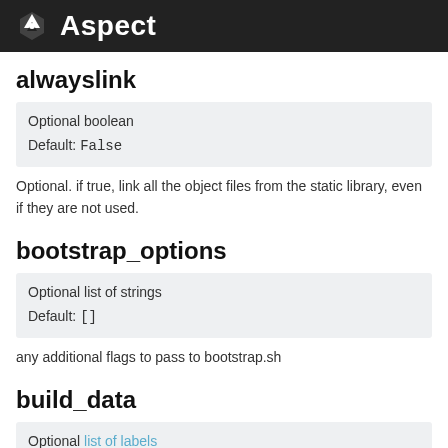Aspect
alwayslink
| Optional boolean |
| Default: False |
Optional. if true, link all the object files from the static library, even if they are not used.
bootstrap_options
| Optional list of strings |
| Default: [] |
any additional flags to pass to bootstrap.sh
build_data
| Optional list of labels |
| Default: [] |